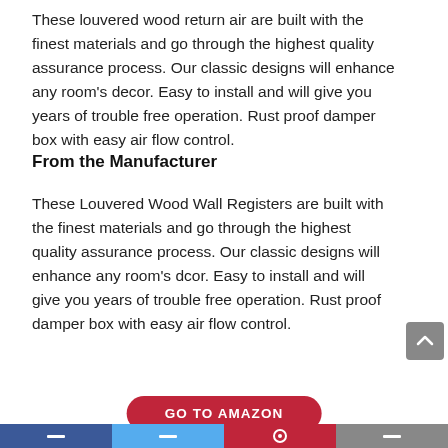These louvered wood return air are built with the finest materials and go through the highest quality assurance process. Our classic designs will enhance any room's decor. Easy to install and will give you years of trouble free operation. Rust proof damper box with easy air flow control.
From the Manufacturer
These Louvered Wood Wall Registers are built with the finest materials and go through the highest quality assurance process. Our classic designs will enhance any room's dcor. Easy to install and will give you years of trouble free operation. Rust proof damper box with easy air flow control.
GO TO AMAZON
Social share bar